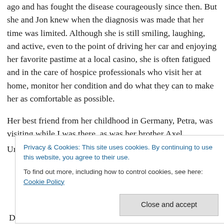ago and has fought the disease courageously since then. But she and Jon knew when the diagnosis was made that her time was limited. Although she is still smiling, laughing, and active, even to the point of driving her car and enjoying her favorite pastime at a local casino, she is often fatigued and in the care of hospice professionals who visit her at home, monitor her condition and do what they can to make her as comfortable as possible.
Her best friend from her childhood in Germany, Petra, was visiting while I was there, as was her brother Axel.
Unfortunately, Axel suffered a heart condition a few days
Privacy & Cookies: This site uses cookies. By continuing to use this website, you agree to their use.
To find out more, including how to control cookies, see here: Cookie Policy
Close and accept
Despite all the health issues, everyone's attitude was